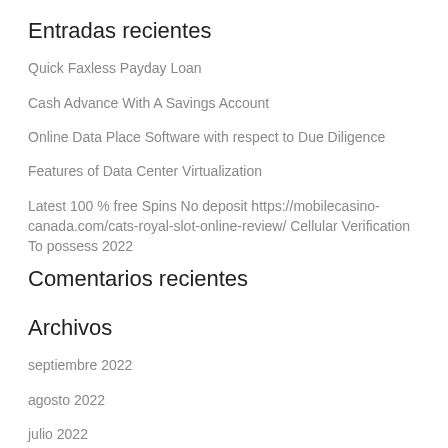Entradas recientes
Quick Faxless Payday Loan
Cash Advance With A Savings Account
Online Data Place Software with respect to Due Diligence
Features of Data Center Virtualization
Latest 100 % free Spins No deposit https://mobilecasino-canada.com/cats-royal-slot-online-review/ Cellular Verification To possess 2022
Comentarios recientes
Archivos
septiembre 2022
agosto 2022
julio 2022